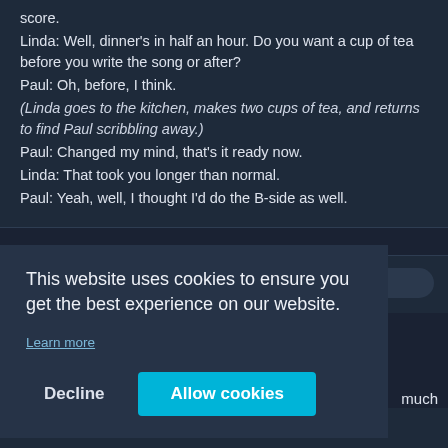score.
Linda: Well, dinner's in half an hour. Do you want a cup of tea before you write the song or after?
Paul: Oh, before, I think.
(Linda goes to the kitchen, makes two cups of tea, and returns to find Paul scribbling away.)
Paul: Changed my mind, that's it ready now.
Linda: That took you longer than normal.
Paul: Yeah, well, I thought I'd do the B-side as well.
[Figure (screenshot): Partial user comment row with avatar and blurred username]
This website uses cookies to ensure you get the best experience on our website.
Learn more
Decline   Allow cookies
much
GERT FROBE: Sehr gut.